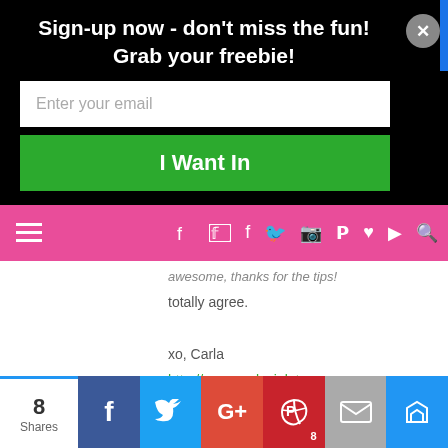Sign-up now - don't miss the fun! Grab your freebie!
Enter your email
I Want In
[Figure (screenshot): Pink navigation bar with hamburger menu icon on left and social media icons (facebook, twitter, instagram, pinterest, heart, youtube) on right with search icon]
awesome, thanks for the tips!
totally agree.

xo, Carla
http://www.carlaviolet.com
JAMILA
[Figure (screenshot): Share bar at bottom showing 8 Shares with Facebook, Twitter, Google+, Pinterest (8), email, and crown icon buttons]